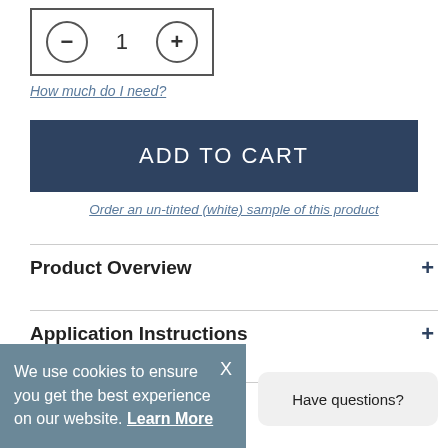[Figure (other): Quantity selector with minus button, number 1, and plus button inside a bordered box]
How much do I need?
ADD TO CART
Order an un-tinted (white) sample of this product
Product Overview
Application Instructions
We use cookies to ensure you get the best experience on our website. Learn More
Have questions?